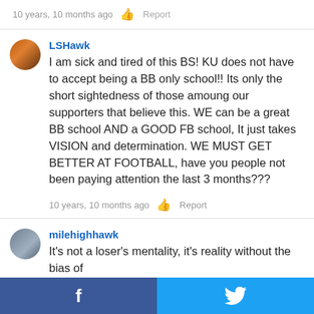10 years, 10 months ago   👍   Report
LSHawk
I am sick and tired of this BS! KU does not have to accept being a BB only school!! Its only the short sightedness of those amoung our supporters that believe this. WE can be a great BB school AND a GOOD FB school, It just takes VISION and determination. WE MUST GET BETTER AT FOOTBALL, have you people not been paying attention the last 3 months???
10 years, 10 months ago   👍   Report
milehighhawk
It's not a loser's mentality, it's reality without the bias of